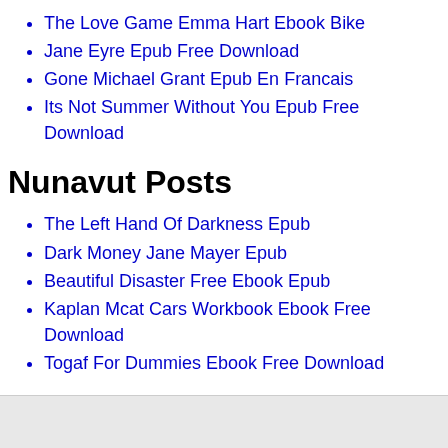The Love Game Emma Hart Ebook Bike
Jane Eyre Epub Free Download
Gone Michael Grant Epub En Francais
Its Not Summer Without You Epub Free Download
Nunavut Posts
The Left Hand Of Darkness Epub
Dark Money Jane Mayer Epub
Beautiful Disaster Free Ebook Epub
Kaplan Mcat Cars Workbook Ebook Free Download
Togaf For Dummies Ebook Free Download